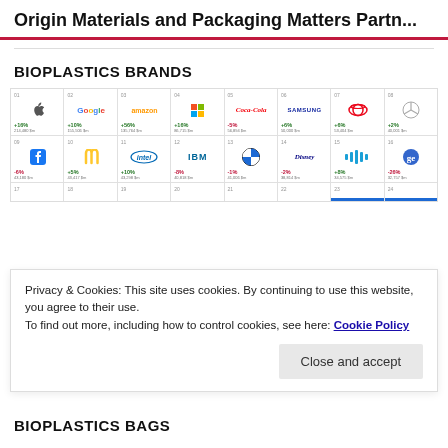Origin Materials and Packaging Matters Partn...
BIOPLASTICS BRANDS
[Figure (infographic): Grid of brand logos with ranking numbers and percentage change values. Row 1: 01 Apple +16% 214,480 $m, 02 Google +10% 155,506 $m, 03 Amazon +56% 135,764 $m, 04 Microsoft +16% 86,715 $m, 05 Coca-Cola -5% 56,894 $m, 06 Samsung +6% 50,000 $m, 07 Toyota +6% 53,404 $m, 08 Mercedes +2% 40,001 $m. Row 2: 09 Facebook -6% 43,180 $m, 10 McDonald's +5% 43,417 $m, 11 Intel +10% 43,298 $m, 12 IBM -8% 40,818 $m, 13 BMW -1% 41,006 $m, 14 Disney -2% 38,814 $m, 15 Cisco +8% 34,575 $m, 16 GE -26% 32,757 $m. Row 3 (partial): 17, 18, 19, 20, 21, 22, 23, 24]
Privacy & Cookies: This site uses cookies. By continuing to use this website, you agree to their use. To find out more, including how to control cookies, see here: Cookie Policy
BIOPLASTICS BAGS